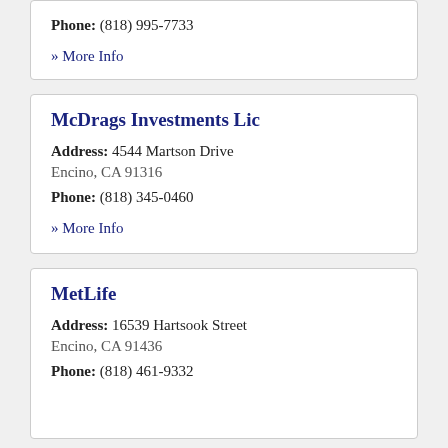Phone: (818) 995-7733
» More Info
McDrags Investments Lic
Address: 4544 Martson Drive Encino, CA 91316
Phone: (818) 345-0460
» More Info
MetLife
Address: 16539 Hartsook Street Encino, CA 91436
Phone: (818) 461-9332